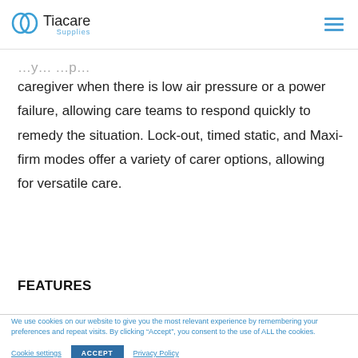Tiacare Supplies
caregiver when there is low air pressure or a power failure, allowing care teams to respond quickly to remedy the situation. Lock-out, timed static, and Maxi-firm modes offer a variety of carer options, allowing for versatile care.
FEATURES
We use cookies on our website to give you the most relevant experience by remembering your preferences and repeat visits. By clicking “Accept”, you consent to the use of ALL the cookies.
Cookie settings  ACCEPT  Privacy Policy